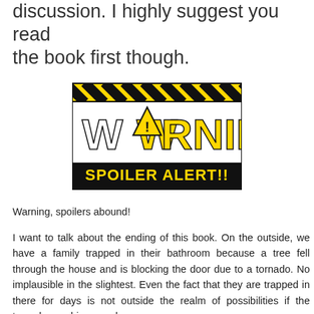discussion. I highly suggest you read the book first though.
[Figure (illustration): Warning Spoiler Alert graphic with yellow and black hazard stripes at top, large yellow 'WARNING' text with a triangle caution symbol replacing the 'A', and a black banner reading 'SPOILER ALERT!!' in yellow text.]
Warning, spoilers abound!
I want to talk about the ending of this book. On the outside, we have a family trapped in their bathroom because a tree fell through the house and is blocking the door due to a tornado. No implausible in the slightest. Even the fact that they are trapped in there for days is not outside the realm of possibilities if the tornado was big enough.